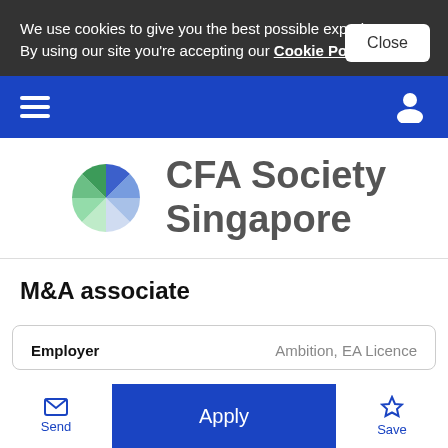We use cookies to give you the best possible experience. By using our site you're accepting our Cookie Policy
CFA Society Singapore navigation bar
[Figure (logo): CFA Society Singapore logo with colorful pinwheel/fan design and gray text]
M&A associate
| Employer |  |
| --- | --- |
| Employer | Ambition, EA Licence |
Send | Apply | Save